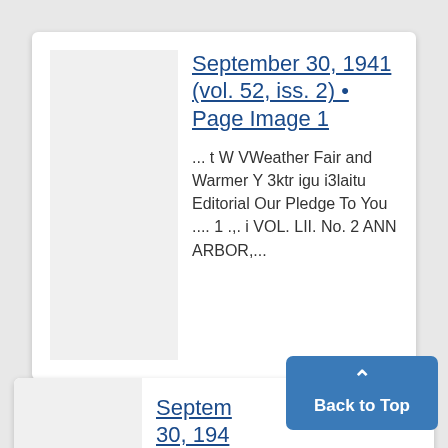September 30, 1941 (vol. 52, iss. 2) • Page Image 1
... t W VWeather Fair and Warmer Y 3ktr igu i3laitu Editorial Our Pledge To You .... 1 .,. i VOL. LII. No. 2 ANN ARBOR,...
September 30, 1941 (vol. 52,...